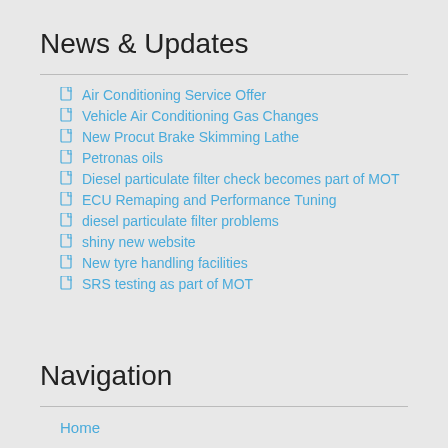News & Updates
Air Conditioning Service Offer
Vehicle Air Conditioning Gas Changes
New Procut Brake Skimming Lathe
Petronas oils
Diesel particulate filter check becomes part of MOT
ECU Remaping and Performance Tuning
diesel particulate filter problems
shiny new website
New tyre handling facilities
SRS testing as part of MOT
Navigation
Home
Servicing